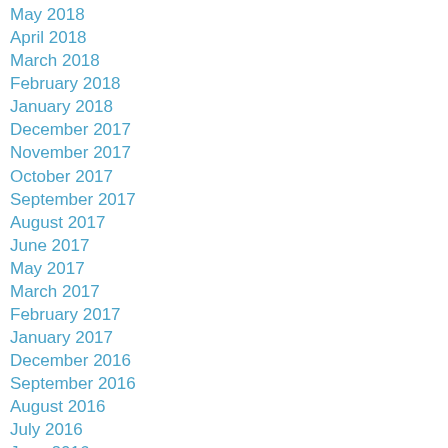May 2018
April 2018
March 2018
February 2018
January 2018
December 2017
November 2017
October 2017
September 2017
August 2017
June 2017
May 2017
March 2017
February 2017
January 2017
December 2016
September 2016
August 2016
July 2016
June 2016
May 2016